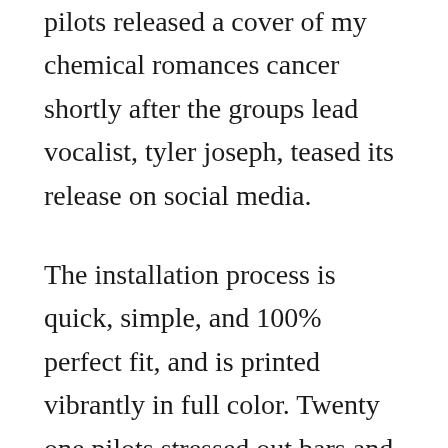pilots released a cover of my chemical romances cancer shortly after the groups lead vocalist, tyler joseph, teased its release on social media.
The installation process is quick, simple, and 100% perfect fit, and is printed vibrantly in full color. Twenty one pilots stressed out bars and melody cover. Twenty one pilots tyler joseph hard phone cover for iphone 7. This year my christmas video asks the question what if oh ms believer by twenty one pilots was played on the ukulele and recorded on an iphone. Free methods to download twenty one